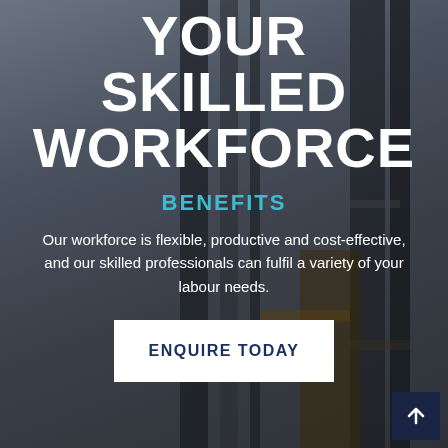YOUR SKILLED WORKFORCE
BENEFITS
Our workforce is flexible, productive and cost-effective, and our skilled professionals can fulfil a variety of your labour needs.
ENQUIRE TODAY
Site clean ups
Defects